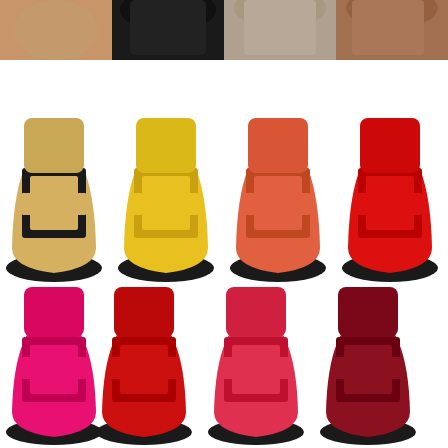[Figure (photo): A product photo collage showing multiple Hermès Oran slide sandals in various colors arranged in three rows. Top row (partial): tan/brown, black, taupe/grey, and brown sandals cropped at top. Middle row: gold/black, yellow, orange/coral, and red sandals shown in full. Bottom row: hot pink, red, pink-red, and dark burgundy/red sandals shown in full. Each sandal features the distinctive Hermès H-shaped cutout strap design on a flat leather sole.]